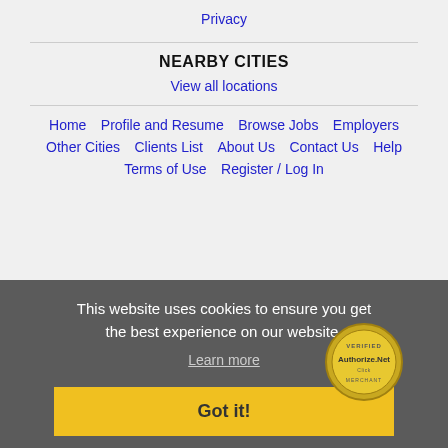Privacy
NEARBY CITIES
View all locations
Home   Profile and Resume   Browse Jobs   Employers
Other Cities   Clients List   About Us   Contact Us   Help
Terms of Use   Register / Log In
This website uses cookies to ensure you get the best experience on our website.
Learn more
[Figure (logo): Authorize.Net Verified seal/badge]
Got it!